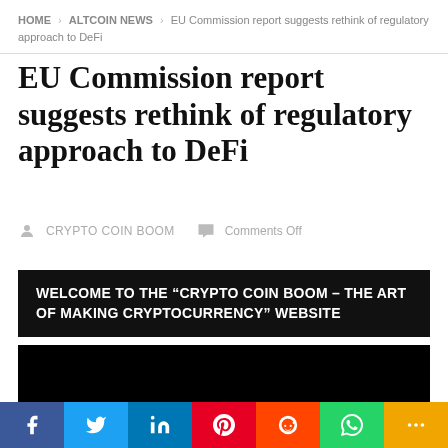HOME > ALTCOIN NEWS > EU Commission report suggests rethink of regulatory approach to DeFi
EU Commission report suggests rethink of regulatory approach to DeFi
CRYPTO COIN BOOM   Comments Off
[Figure (other): Black banner with white bold uppercase text: WELCOME TO THE “CRYPTO COIN BOOM – THE ART OF MAKING CRYPTOCURRENCY” WEBSITE]
[Figure (other): Black video embed placeholder block]
[Figure (other): Social media sharing bar with Facebook, Twitter, LinkedIn, Pinterest, Reddit, WhatsApp, and More buttons]